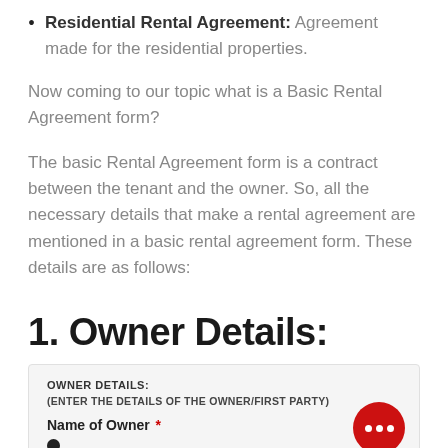Residential Rental Agreement: Agreement made for the residential properties.
Now coming to our topic what is a Basic Rental Agreement form?
The basic Rental Agreement form is a contract between the tenant and the owner. So, all the necessary details that make a rental agreement are mentioned in a basic rental agreement form. These details are as follows:
1. Owner Details:
| OWNER DETAILS: | (ENTER THE DETAILS OF THE OWNER/FIRST PARTY) |
| --- | --- |
| Name of Owner * |  |